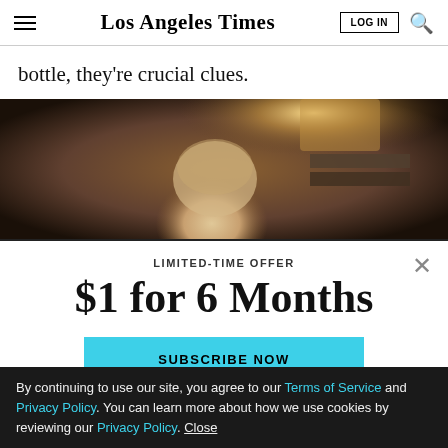Los Angeles Times | LOG IN | [search]
bottle, they're crucial clues.
[Figure (photo): Close-up photo of an elderly man with white hair and glasses, partially lit from above, warm tones]
LIMITED-TIME OFFER
$1 for 6 Months
SUBSCRIBE NOW
By continuing to use our site, you agree to our Terms of Service and Privacy Policy. You can learn more about how we use cookies by reviewing our Privacy Policy. Close